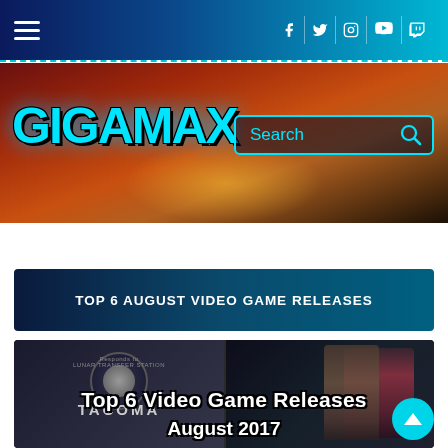Navigation bar with hamburger menu and social icons (Facebook, Twitter, Instagram, YouTube, Twitch)
[Figure (logo): GIGAMAX logo in cyan graffiti-style text with search bar on dark-red/orange game background banner]
TOP 6 AUGUST VIDEO GAME RELEASES
[Figure (photo): Composite game image: left side shows Tacoma space station game logo, right side shows Uncharted-style characters. Overlay text reads 'Top 6 Video Game Releases August 2017']